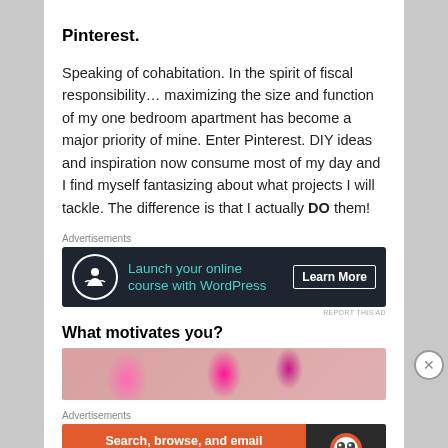Pinterest.
Speaking of cohabitation. In the spirit of fiscal responsibility… maximizing the size and function of my one bedroom apartment has become a major priority of mine. Enter Pinterest. DIY ideas and inspiration now consume most of my day and I find myself fantasizing about what projects I will tackle. The difference is that I actually DO them!
Advertisements
[Figure (screenshot): Advertisement banner: dark background with icon of person meditating, teal text 'Launch your online course with WordPress', and 'Learn More' button]
REPORT THIS AD
What motivates you?
[Figure (photo): Partial photo showing colorful rounded objects (pink/magenta) on a wooden surface]
Advertisements
[Figure (screenshot): DuckDuckGo advertisement: orange left panel with 'Search, browse, and email with more privacy. All in One Free App', dark right panel with DuckDuckGo logo]
REPORT THIS AD